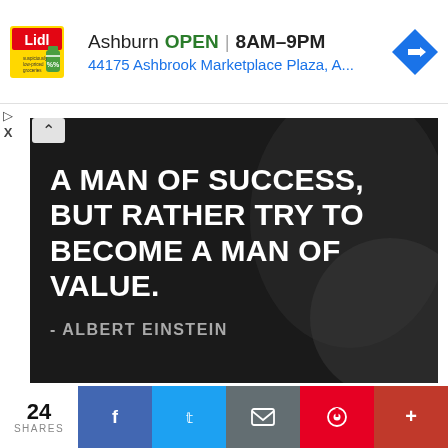[Figure (screenshot): Lidl ad banner showing store location in Ashburn, OPEN 8AM-9PM, 44175 Ashbrook Marketplace Plaza, A... with a navigation arrow icon]
[Figure (photo): Dark background motivational quote image with bold white text: 'A MAN OF SUCCESS, BUT RATHER TRY TO BECOME A MAN OF VALUE.' attributed to ALBERT EINSTEIN]
A — ALBERT EINSTEIN
Try not to become a man of success, but rather try to
24 SHARES | f | t | email | p | +